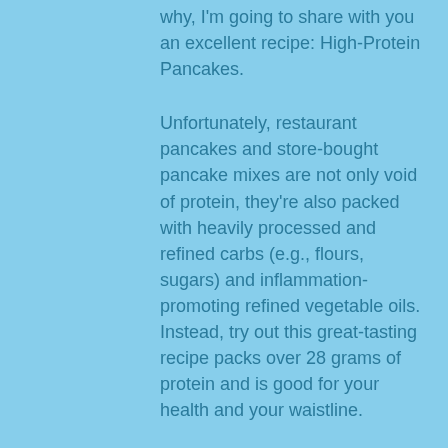why, I'm going to share with you an excellent recipe: High-Protein Pancakes.
Unfortunately, restaurant pancakes and store-bought pancake mixes are not only void of protein, they're also packed with heavily processed and refined carbs (e.g., flours, sugars) and inflammation-promoting refined vegetable oils. Instead, try out this great-tasting recipe packs over 28 grams of protein and is good for your health and your waistline.
Ingredients: